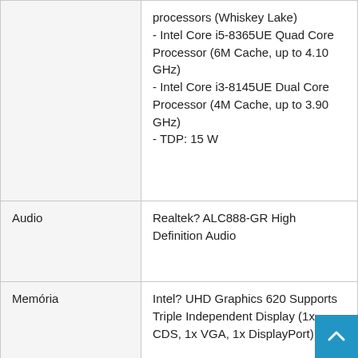| Category | Details |
| --- | --- |
|  | processors (Whiskey Lake)
- Intel Core i5-8365UE Quad Core Processor (6M Cache, up to 4.10 GHz)
- Intel Core i3-8145UE Dual Core Processor (4M Cache, up to 3.90 GHz)
- TDP: 15 W |
| Audio | Realtek? ALC888-GR High Definition Audio |
| Memória | Intel? UHD Graphics 620 Supports Triple Independent Display (1x CDS, 1x VGA, 1x DisplayPort) |
| I/O Csatlakozók | 1x VGA (1920 x 1200 @60Hz) 1x DisplayPort (4096 x 2304 @ 60Hz) 2x GbE LAN (Support WoL, Teaming, Jumbo Frame and PXE), RJ45 - GbE1: Intel I219LM - GbE2: Intel I210IT 2x PoE+ (with Optional |